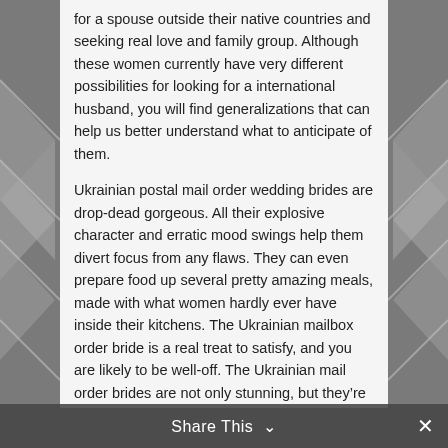for a spouse outside their native countries and seeking real love and family group. Although these women currently have very different possibilities for looking for a international husband, you will find generalizations that can help us better understand what to anticipate of them.
Ukrainian postal mail order wedding brides are drop-dead gorgeous. All their explosive character and erratic mood swings help them divert focus from any flaws. They can even prepare food up several pretty amazing meals, made with what women hardly ever have inside their kitchens. The Ukrainian mailbox order bride is a real treat to satisfy, and you are likely to be well-off. The Ukrainian mail order brides are not only stunning, but they're also outstanding cooks.
Another furthermore of mail order brides is the
Share This ⌄  ✕